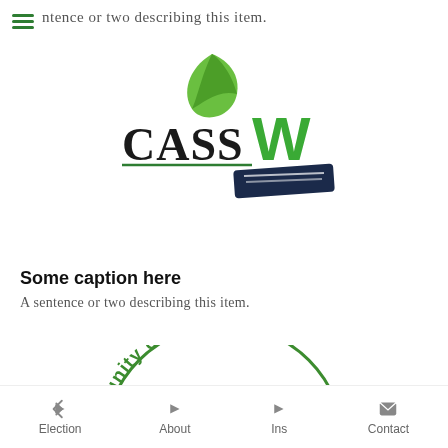A sentence or two describing this item.
[Figure (logo): CASSW logo with green leaf above text 'CASS W' where W is green and large, with a dark navy banner beneath, underlined text]
Some caption here
A sentence or two describing this item.
[Figure (logo): Community of African ... circular logo with green Africa map in center, partial arc text visible: 'mmunity of African']
Election    About    Ins    Contact